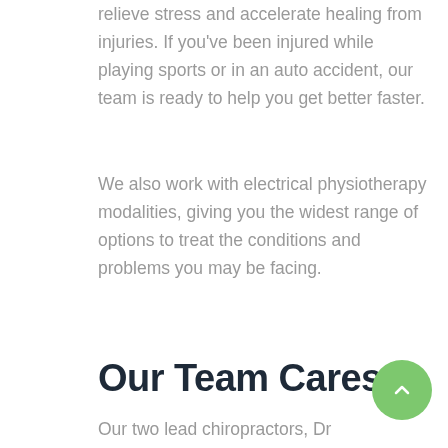relieve stress and accelerate healing from injuries. If you've been injured while playing sports or in an auto accident, our team is ready to help you get better faster.
We also work with electrical physiotherapy modalities, giving you the widest range of options to treat the conditions and problems you may be facing.
Our Team Cares
Our two lead chiropractors, Dr